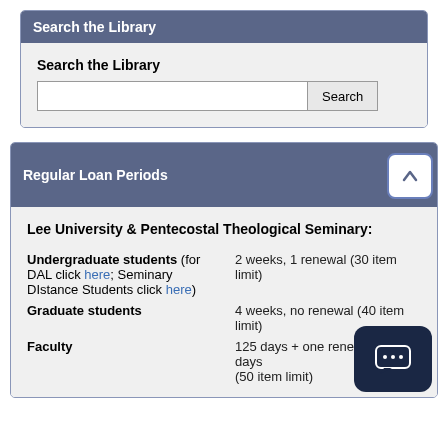Search the Library
Search the Library
Regular Loan Periods
Lee University & Pentecostal Theological Seminary:
Undergraduate students (for DAL click here; Seminary DIstance Students click here) — 2 weeks, 1 renewal (30 item limit)
Graduate students — 4 weeks, no renewal (40 item limit)
Faculty — 125 days + one renewal 45 days (50 item limit)